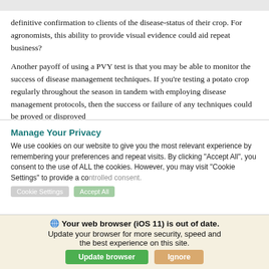definitive confirmation to clients of the disease-status of their crop. For agronomists, this ability to provide visual evidence could aid repeat business?
Another payoff of using a PVY test is that you may be able to monitor the success of disease management techniques. If you're testing a potato crop regularly throughout the season in tandem with employing disease management protocols, then the success or failure of any techniques could be proved or disproved
Manage Your Privacy
We use cookies on our website to give you the most relevant experience by remembering your preferences and repeat visits. By clicking "Accept All", you consent to the use of ALL the cookies. However, you may visit "Cookie Settings" to provide a controlled consent.
🌐 Your web browser (iOS 11) is out of date. Update your browser for more security, speed and the best experience on this site.